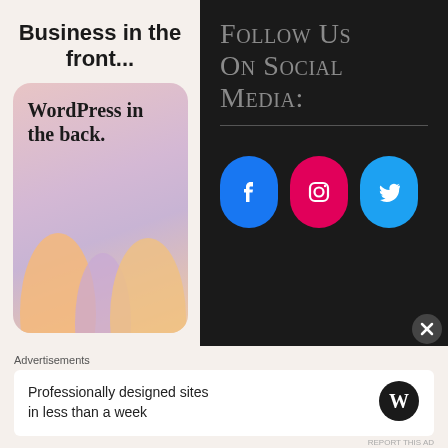Business in the front...
[Figure (illustration): WordPress advertisement card with gradient pink-purple-orange background and text 'WordPress in the back.']
Follow Us On Social Media:
[Figure (infographic): Three social media icon buttons: Facebook (blue), Instagram (pink/magenta), Twitter (blue)]
Advertisements
Professionally designed sites in less than a week
[Figure (logo): WordPress logo (W in circle)]